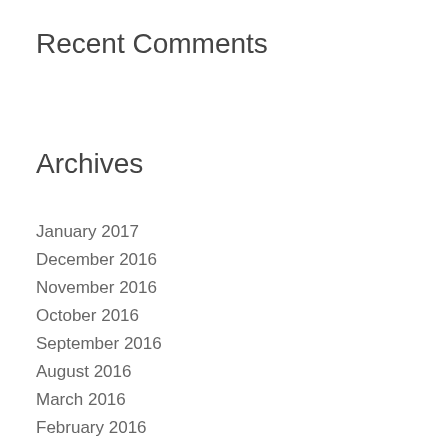Recent Comments
Archives
January 2017
December 2016
November 2016
October 2016
September 2016
August 2016
March 2016
February 2016
January 2016
December 2015
November 2015
October 2015